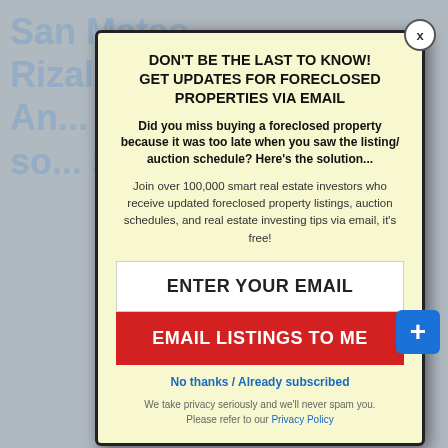San Mateo, Rizal (Lot An... Fl... so... Sa...
DON'T BE THE LAST TO KNOW! GET UPDATES FOR FORECLOSED PROPERTIES VIA EMAIL
Did you miss buying a foreclosed property because it was too late when you saw the listing/ auction schedule? Here's the solution...
Join over 100,000 smart real estate investors who receive updated foreclosed property listings, auction schedules, and real estate investing tips via email, it's free!
ENTER YOUR EMAIL
EMAIL LISTINGS TO ME
No thanks / Already subscribed
We take privacy seriously and we'll never spam you. Please refer to our Privacy Policy